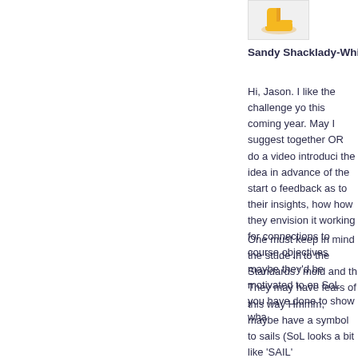[Figure (illustration): Avatar image of a person with yellow/orange icon]
Sandy Shacklady-White  #
Hi, Jason. I like the challenge yo this coming year. May I suggest together OR do a video introduci the idea in advance of the start o feedback as to their insights, how how they envision it working for connections to course objectives maybe they'd be motivated to en SoL you have done to show wha
One must keep in mind the stude in'to the Standards ' mold and th They may have fears of this way Hmmm, maybe have a symbol to sails (SoL looks a bit like 'SAIL' journey….what's their destinatio development? Improved writing